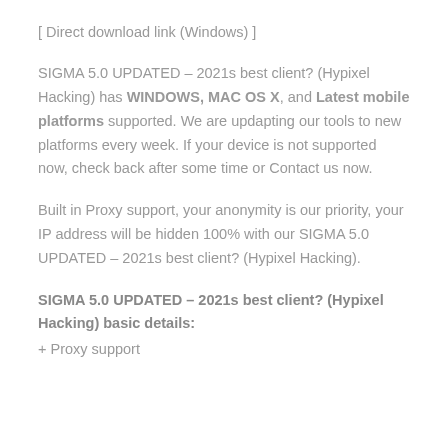[ Direct download link (Windows) ]
SIGMA 5.0 UPDATED – 2021s best client? (Hypixel Hacking) has WINDOWS, MAC OS X, and Latest mobile platforms supported. We are updapting our tools to new platforms every week. If your device is not supported now, check back after some time or Contact us now.
Built in Proxy support, your anonymity is our priority, your IP address will be hidden 100% with our SIGMA 5.0 UPDATED – 2021s best client? (Hypixel Hacking).
SIGMA 5.0 UPDATED – 2021s best client? (Hypixel Hacking) basic details:
+ Proxy support